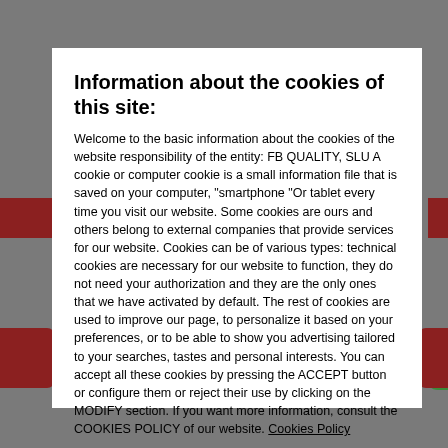Information about the cookies of this site:
Welcome to the basic information about the cookies of the website responsibility of the entity: FB QUALITY, SLU A cookie or computer cookie is a small information file that is saved on your computer, "smartphone "Or tablet every time you visit our website. Some cookies are ours and others belong to external companies that provide services for our website. Cookies can be of various types: technical cookies are necessary for our website to function, they do not need your authorization and they are the only ones that we have activated by default. The rest of cookies are used to improve our page, to personalize it based on your preferences, or to be able to show you advertising tailored to your searches, tastes and personal interests. You can accept all these cookies by pressing the ACCEPT button or configure them or reject their use by clicking on the MODIFY section. If you want more information, consult the COOKIES POLICY of our website. Cookies Policy
ACCEPT
Modify